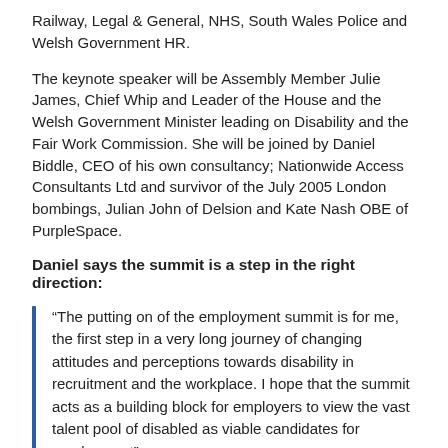Railway, Legal & General, NHS, South Wales Police and Welsh Government HR.
The keynote speaker will be Assembly Member Julie James, Chief Whip and Leader of the House and the Welsh Government Minister leading on Disability and the Fair Work Commission. She will be joined by Daniel Biddle, CEO of his own consultancy; Nationwide Access Consultants Ltd and survivor of the July 2005 London bombings, Julian John of Delsion and Kate Nash OBE of PurpleSpace.
Daniel says the summit is a step in the right direction:
“The putting on of the employment summit is for me, the first step in a very long journey of changing attitudes and perceptions towards disability in recruitment and the workplace. I hope that the summit acts as a building block for employers to view the vast talent pool of disabled as viable candidates for employment”.